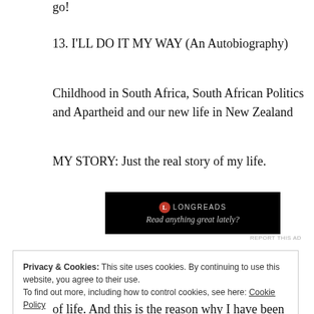go!
13. I'LL DO IT MY WAY (An Autobiography)
Childhood in South Africa, South African Politics and Apartheid and our new life in New Zealand
MY STORY: Just the real story of my life.
[Figure (other): Longreads advertisement banner with black background. Shows Longreads logo (red circle with L) and text 'Read anything great lately?']
REPORT THIS AD
Privacy & Cookies: This site uses cookies. By continuing to use this website, you agree to their use.
To find out more, including how to control cookies, see here: Cookie Policy
of life. And this is the reason why I have been able